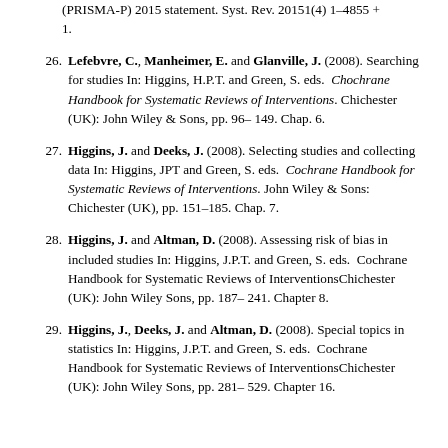(PRISMA-P) 2015 statement. Syst. Rev. 20151(4) 1–4855 + 1.
26. Lefebvre, C., Manheimer, E. and Glanville, J. (2008). Searching for studies In: Higgins, H.P.T. and Green, S. eds. Chochrane Handbook for Systematic Reviews of Interventions. Chichester (UK): John Wiley & Sons, pp. 96–149. Chap. 6.
27. Higgins, J. and Deeks, J. (2008). Selecting studies and collecting data In: Higgins, JPT and Green, S. eds. Cochrane Handbook for Systematic Reviews of Interventions. John Wiley & Sons: Chichester (UK), pp. 151–185. Chap. 7.
28. Higgins, J. and Altman, D. (2008). Assessing risk of bias in included studies In: Higgins, J.P.T. and Green, S. eds. Cochrane Handbook for Systematic Reviews of InterventionsChichester (UK): John Wiley Sons, pp. 187–241. Chapter 8.
29. Higgins, J., Deeks, J. and Altman, D. (2008). Special topics in statistics In: Higgins, J.P.T. and Green, S. eds. Cochrane Handbook for Systematic Reviews of InterventionsChichester (UK): John Wiley Sons, pp. 281–529. Chapter 16.